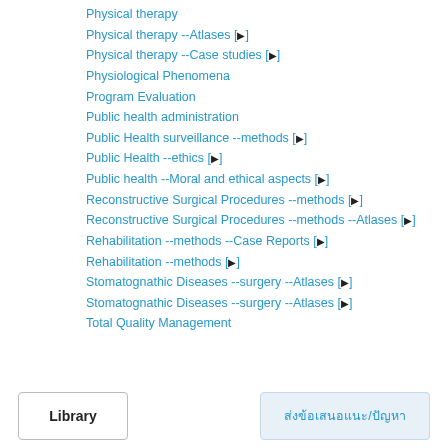Physical therapy
Physical therapy --Atlases [▶]
Physical therapy --Case studies [▶]
Physiological Phenomena
Program Evaluation
Public health administration
Public Health surveillance --methods [▶]
Public Health --ethics [▶]
Public health --Moral and ethical aspects [▶]
Reconstructive Surgical Procedures --methods [▶]
Reconstructive Surgical Procedures --methods --Atlases [▶]
Rehabilitation --methods --Case Reports [▶]
Rehabilitation --methods [▶]
Stomatognathic Diseases --surgery --Atlases [▶]
Stomatognathic Diseases --surgery --Atlases [▶]
Total Quality Management
Library
ส่งข้อเสนอแนะ/ปัญหา